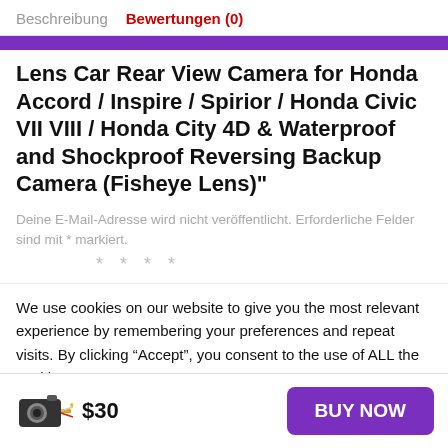Beschreibung   Bewertungen (0)
Lens Car Rear View Camera for Honda Accord / Inspire / Spirior / Honda Civic VII VIII / Honda City 4D & Waterproof and Shockproof Reversing Backup Camera (Fisheye Lens)"
Deine E-Mail-Adresse wird nicht veröffentlicht. Erforderliche Felder sind mit * markiert.
We use cookies on our website to give you the most relevant experience by remembering your preferences and repeat visits. By clicking “Accept”, you consent to the use of ALL the cookies.
$30   BUY NOW